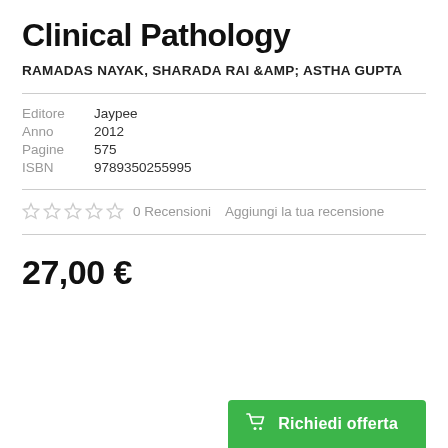Clinical Pathology
RAMADAS NAYAK, SHARADA RAI &AMP; ASTHA GUPTA
Editore  Jaypee
Anno  2012
Pagine  575
ISBN  9789350255995
★★★★★  0 Recensioni   Aggiungi la tua recensione
27,00 €
Richiedi offerta